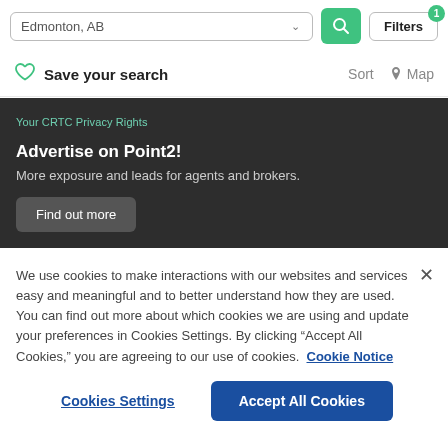[Figure (screenshot): Search bar with 'Edmonton, AB' location input, green search button, and Filters button with badge '1']
Save your search   Sort  Map
Your CRTC Privacy Rights
Advertise on Point2!
More exposure and leads for agents and brokers.
Find out more
We use cookies to make interactions with our websites and services easy and meaningful and to better understand how they are used. You can find out more about which cookies we are using and update your preferences in Cookies Settings. By clicking "Accept All Cookies," you are agreeing to our use of cookies.  Cookie Notice
Cookies Settings
Accept All Cookies